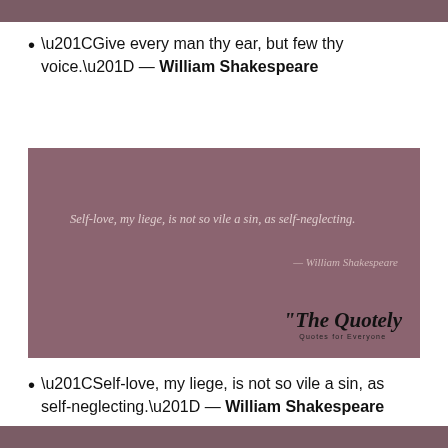“Give every man thy ear, but few thy voice.” — William Shakespeare
[Figure (illustration): Mauve/rose colored quote card showing: 'Self-love, my liege, is not so vile a sin, as self-neglecting.' attributed to William Shakespeare, with 'The Quotely - Quotes for Everyone' logo in the bottom right.]
“Self-love, my liege, is not so vile a sin, as self-neglecting.” — William Shakespeare